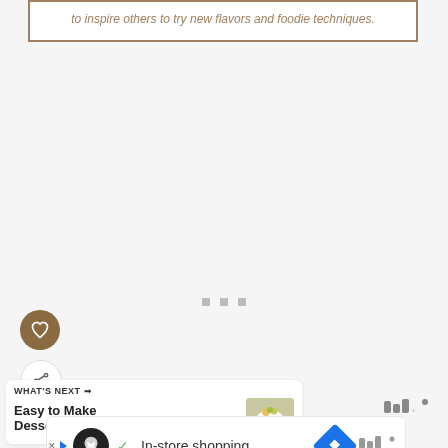to inspire others to try new flavors and foodie techniques.
[Figure (other): Loading content area with three gray square dots centered]
[Figure (other): Heart icon button (brown/tan circle with white heart)]
[Figure (other): Share icon button (white circle with share/add icon)]
WHAT'S NEXT → Easy to Make Dessert:...
[Figure (photo): Thumbnail image of easy to make desserts]
[Figure (logo): Mediavine logo top right]
[Figure (other): Advertisement banner: In-store shopping with play icon, Infinity Shoes logo, checkmark, blue diamond icon]
[Figure (logo): Mediavine logo bottom right of ad]